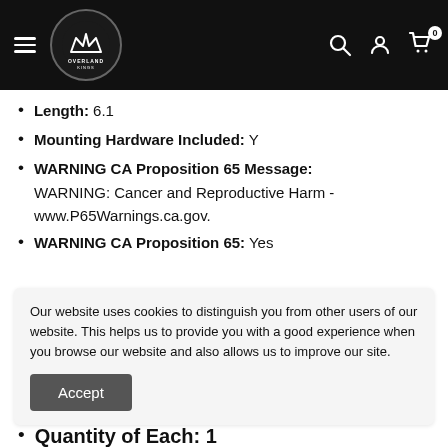Overland Kings — navigation header with logo, hamburger menu, search, account, and cart icons
Length: 6.1
Mounting Hardware Included: Y
WARNING CA Proposition 65 Message: WARNING: Cancer and Reproductive Harm - www.P65Warnings.ca.gov.
WARNING CA Proposition 65: Yes
Our website uses cookies to distinguish you from other users of our website. This helps us to provide you with a good experience when you browse our website and also allows us to improve our site.
Quantity of Each: 1